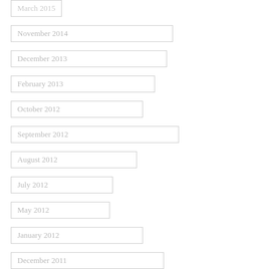March 2015
November 2014
December 2013
February 2013
October 2012
September 2012
August 2012
July 2012
May 2012
January 2012
December 2011
Categories
All
20 Day Sustainable Fashion Challenge
Bowling Ball
Buell
Buttons
Candy
Car